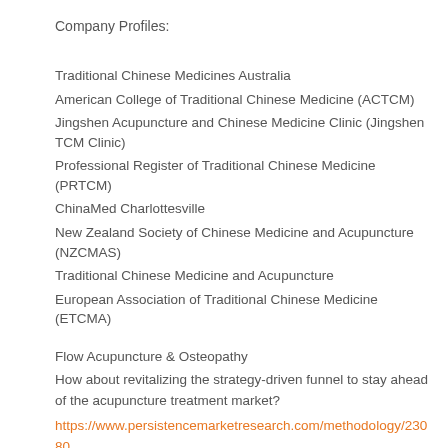Company Profiles:
Traditional Chinese Medicines Australia
American College of Traditional Chinese Medicine (ACTCM)
Jingshen Acupuncture and Chinese Medicine Clinic (Jingshen TCM Clinic)
Professional Register of Traditional Chinese Medicine (PRTCM)
ChinaMed Charlottesville
New Zealand Society of Chinese Medicine and Acupuncture (NZCMAS)
Traditional Chinese Medicine and Acupuncture
European Association of Traditional Chinese Medicine (ETCMA)
Flow Acupuncture & Osteopathy
How about revitalizing the strategy-driven funnel to stay ahead of the acupuncture treatment market?
https://www.persistencemarketresearch.com/methodology/23080